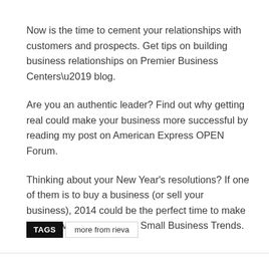Now is the time to cement your relationships with customers and prospects. Get tips on building business relationships on Premier Business Centers’ blog.
Are you an authentic leader? Find out why getting real could make your business more successful by reading my post on American Express OPEN Forum.
Thinking about your New Year's resolutions? If one of them is to buy a business (or sell your business), 2014 could be the perfect time to make your move. Learn why on Small Business Trends.
TAGS  more from rieva